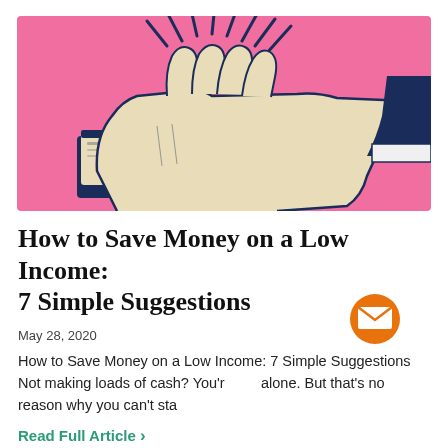[Figure (illustration): Illustration of a hand holding a stack of cash bills and coins on a pink background with radiating lines]
How to Save Money on a Low Income: 7 Simple Suggestions
May 28, 2020
How to Save Money on a Low Income: 7 Simple Suggestions Not making loads of cash? You're not alone. But that's no reason why you can't sta…
Read Full Article >